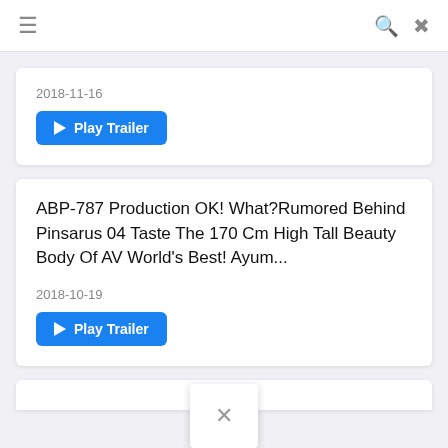≡  🔍  ✕
2018-11-16
[Figure (other): Play Trailer button (blue rounded rectangle with play triangle icon)]
ABP-787 Production OK! What?Rumored Behind Pinsarus 04 Taste The 170 Cm High Tall Beauty Body Of AV World's Best! Ayum...
2018-10-19
[Figure (other): Play Trailer button (blue rounded rectangle with play triangle icon)]
[Figure (other): Close popup overlay with × symbol]